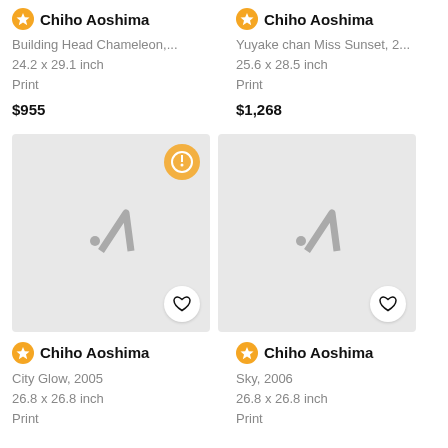Chiho Aoshima
Building Head Chameleon,...
24.2 x 29.1 inch
Print
$955
Chiho Aoshima
Yuyake chan Miss Sunset, 2...
25.6 x 28.5 inch
Print
$1,268
[Figure (illustration): Artsy placeholder image with logo, heart button, and yellow badge]
[Figure (illustration): Artsy placeholder image with logo and heart button]
Chiho Aoshima
City Glow, 2005
26.8 x 26.8 inch
Print
Chiho Aoshima
Sky, 2006
26.8 x 26.8 inch
Print